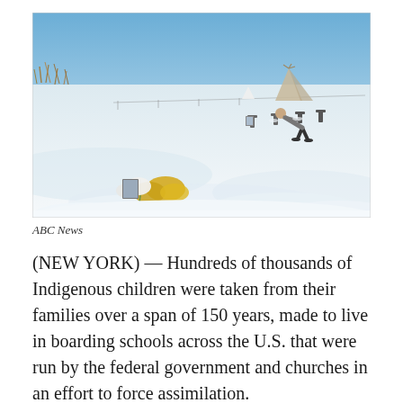[Figure (photo): A person bends over snow-covered grave markers in a winter field. Yellow and white flowers are visible near a small framed photo in the foreground. A teepee structure is visible in the background under a blue sky.]
ABC News
(NEW YORK) — Hundreds of thousands of Indigenous children were taken from their families over a span of 150 years, made to live in boarding schools across the U.S. that were run by the federal government and churches in an effort to force assimilation.